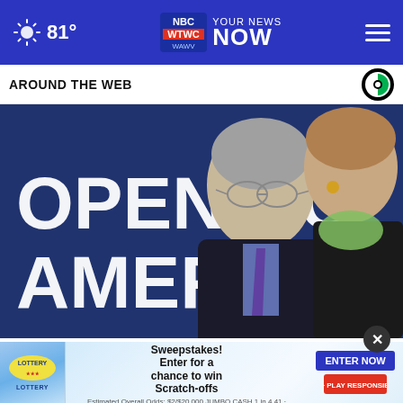81° | WTWC WAWV NBC2 YOUR NEWS NOW
AROUND THE WEB
[Figure (photo): Two people standing in front of a dark blue banner reading 'OPENING AMERICA'. A man with silver hair and glasses wearing a dark suit and purple tie, and a woman in a black jacket with a green scarf.]
Fauci and Birx at odds over angry encounter with Pen...
[Figure (infographic): Lottery advertisement banner: Jumbo Fun Sweepstakes - Enter for a chance to win Scratch-offs - ENTER NOW button]